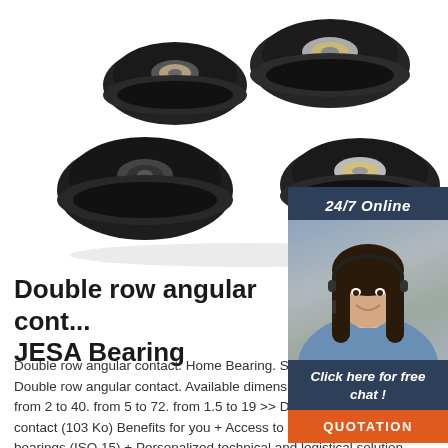[Figure (photo): Multiple black rubber-rimmed ball bearings with silver metallic centers, arranged loosely on a white background]
[Figure (photo): Customer service agent: smiling woman with headset, dark hair, blue shirt, with '24/7 Online' header, 'Click here for free chat!' text and orange QUOTATION button]
Double row angular contact. JESA Bearing
Double row angular contact. Home Bearing. Standard Bearings Double row angular contact. Available dimensions (in mm) d. D. B. from 2 to 40. from 5 to 72. from 1.5 to 19 >> Double row angular contact (103 Ko) Benefits for you + Access to a complete range of bearings (ISO 15) + Personalized technical and logistical solution